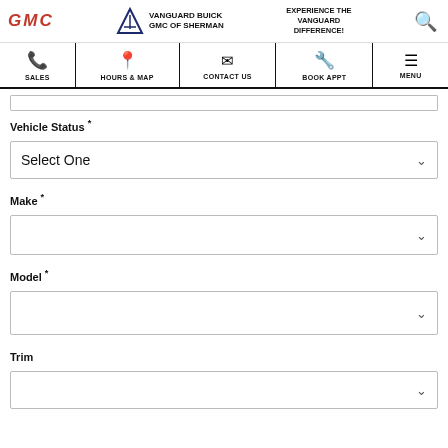GMC | VANGUARD | VANGUARD BUICK GMC OF SHERMAN | EXPERIENCE THE VANGUARD DIFFERENCE!
[Figure (screenshot): Navigation bar with icons: SALES, HOURS & MAP, CONTACT US, BOOK APPT, MENU]
Vehicle Status *
Select One
Make *
Model *
Trim